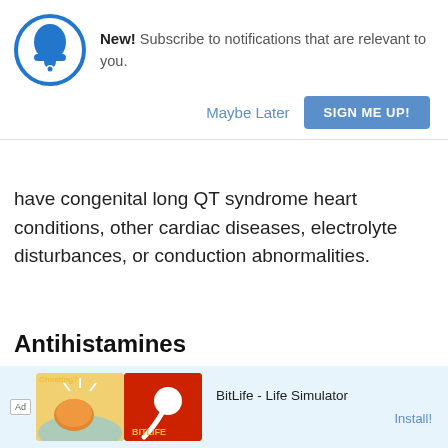[Figure (screenshot): Notification subscription prompt with blue bell icon in circle, text 'New! Subscribe to notifications that are relevant to you.', and two buttons: 'Maybe Later' and 'SIGN ME UP!']
have congenital long QT syndrome heart conditions, other cardiac diseases, electrolyte disturbances, or conduction abnormalities.
Antihistamines
[Figure (screenshot): Advertisement banner for BitLife - Life Simulator app with colorful icons and Install! button]